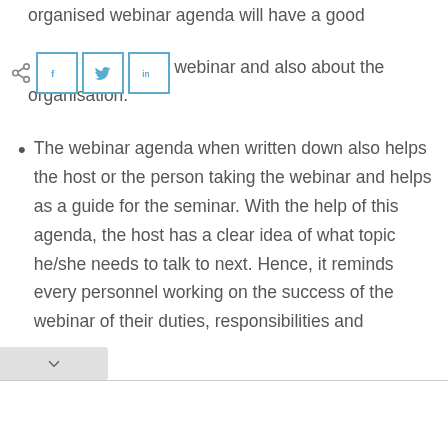organised webinar agenda will have a good [knowledge] the webinar and also about the organisation.
The webinar agenda when written down also helps the host or the person taking the webinar and helps as a guide for the seminar. With the help of this agenda, the host has a clear idea of what topic he/she needs to talk to next. Hence, it reminds every personnel working on the success of the webinar of their duties, responsibilities and